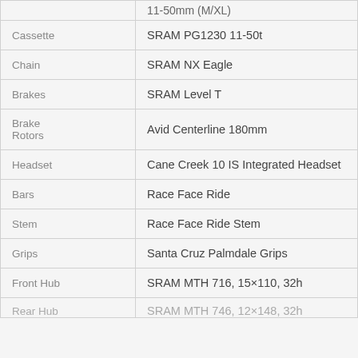| Component | Specification |
| --- | --- |
| Cassette | SRAM PG1230 11-50t |
| Chain | SRAM NX Eagle |
| Brakes | SRAM Level T |
| Brake Rotors | Avid Centerline 180mm |
| Headset | Cane Creek 10 IS Integrated Headset |
| Bars | Race Face Ride |
| Stem | Race Face Ride Stem |
| Grips | Santa Cruz Palmdale Grips |
| Front Hub | SRAM MTH 716, 15×110, 32h |
| Rear Hub | SRAM MTH 746, 12×148, 32h |